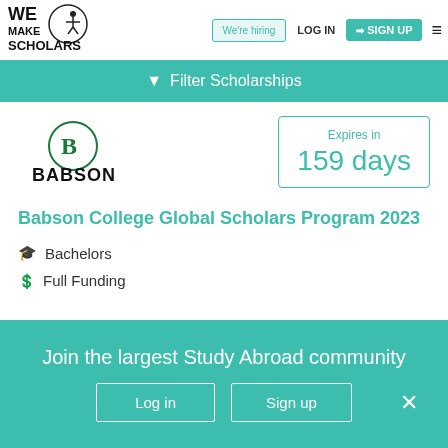[Figure (logo): We Make Scholars logo with acrobat figure and circular border]
We're hiring
LOG IN
SIGN UP
Filter Scholarships
[Figure (logo): Babson College logo - circular B mark with BABSON text below]
Expires in
159 days
Babson College Global Scholars Program 2023
Bachelors
Full Funding
Join the largest Study Abroad community
Log in
Sign up